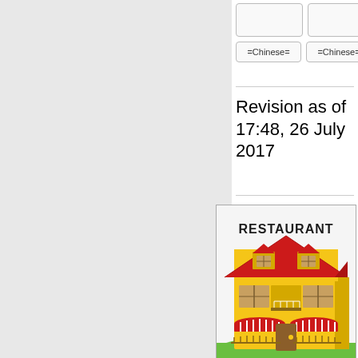=Chinese=
=Chinese=
Revision as of 17:48, 26 July 2017
[Figure (illustration): 3D illustration of a two-story yellow restaurant building with a red roof, red and white striped awnings, and a 'RESTAURANT' sign on top, surrounded by green grass.]